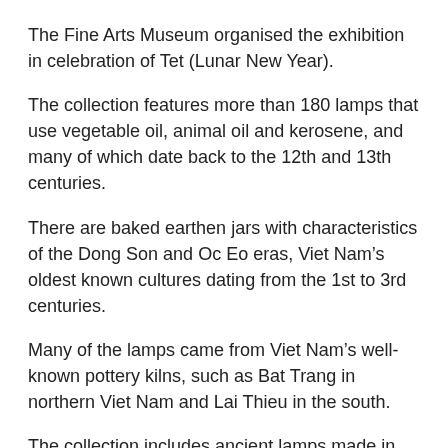The Fine Arts Museum organised the exhibition in celebration of Tet (Lunar New Year).
The collection features more than 180 lamps that use vegetable oil, animal oil and kerosene, and many of which date back to the 12th and 13th centuries.
There are baked earthen jars with characteristics of the Dong Son and Oc Eo eras, Viet Nam’s oldest known cultures dating from the 1st to 3rd centuries.
Many of the lamps came from Viet Nam’s well-known pottery kilns, such as Bat Trang in northern Viet Nam and Lai Thieu in the south.
The collection includes ancient lamps made in China, France, India, Japan and Israel.
[...]